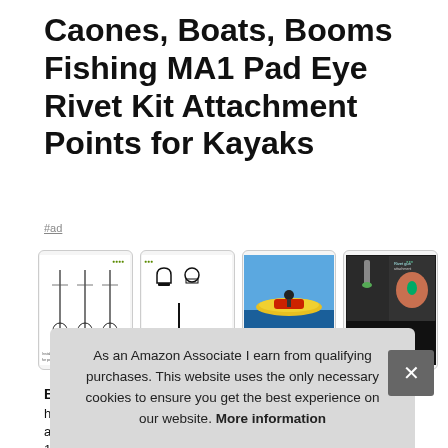Caones, Boats, Booms Fishing MA1 Pad Eye Rivet Kit Attachment Points for Kayaks
#ad
[Figure (photo): Four product images showing pad eye rivet kit components, technical diagrams, kayak in water, and installation steps]
Boo
hole acc 1/6" dow
As an Amazon Associate I earn from qualifying purchases. This website uses the only necessary cookies to ensure you get the best experience on our website. More information